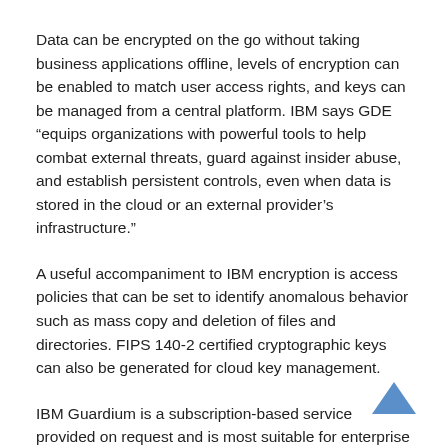Data can be encrypted on the go without taking business applications offline, levels of encryption can be enabled to match user access rights, and keys can be managed from a central platform. IBM says GDE “equips organizations with powerful tools to help combat external threats, guard against insider abuse, and establish persistent controls, even when data is stored in the cloud or an external provider’s infrastructure.”
A useful accompaniment to IBM encryption is access policies that can be set to identify anomalous behavior such as mass copy and deletion of files and directories. FIPS 140-2 certified cryptographic keys can also be generated for cloud key management.
IBM Guardium is a subscription-based service provided on request and is most suitable for enterprise companies willing to invest in a one-stop-shop solution